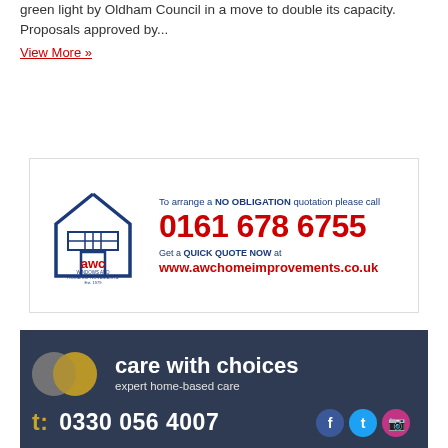green light by Oldham Council in a move to double its capacity. Proposals approved by...
View More »
[Figure (illustration): AWC Windows and Home Improvements advertisement with logo (house outline with awc text), tagline 'To arrange a NO OBLIGATION quotation please call', phone number '0161 678 6755', and website 'www.awchomeimprovements.co.uk']
[Figure (illustration): Care with Choices advertisement on dark navy background with overlapping circles logo, brand name 'care with choices', tagline 'expert home-based care', phone number '0330 056 4007' and social media icons]